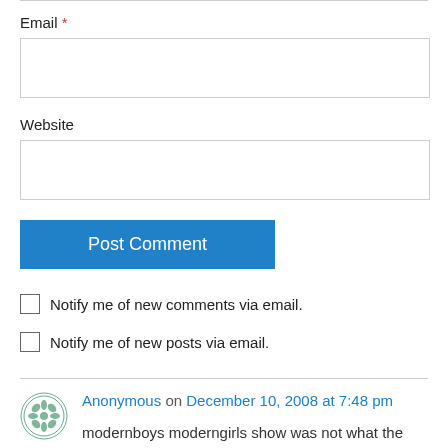Email *
Website
Post Comment
Notify me of new comments via email.
Notify me of new posts via email.
Anonymous on December 10, 2008 at 7:48 pm
modernboys moderngirls show was not what the